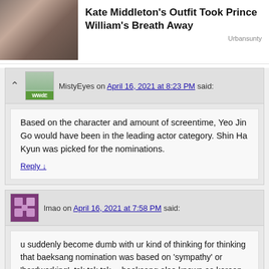[Figure (photo): Photo of Kate Middleton with article headline 'Kate Middleton's Outfit Took Prince William's Breath Away' and source label 'Urbanaunt']
MistyEyes on April 16, 2021 at 8:23 PM said:
Based on the character and amount of screentime, Yeo Jin Go would have been in the leading actor category. Shin Ha Kyun was picked for the nominations.
Reply ↓
lmao on April 16, 2021 at 7:58 PM said:
u suddenly become dumb with ur kind of thinking for thinking that baeksang nomination was based on 'sympathy' or 'hardworking'..tsk tsk tsk… baeksang also known as korean oscar. never knew that it's level is that low for nominating artists based on sympathy and hardworking, and not based on performance. the judges are not that clown, okay. they are